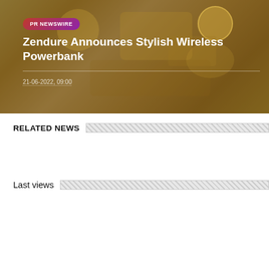[Figure (photo): Hero image of a wireless powerbank and accessories on a golden/warm-toned background with a smartphone and cables visible]
PR NEWSWIRE
Zendure Announces Stylish Wireless Powerbank
21-06-2022, 09:00
RELATED NEWS
Last views